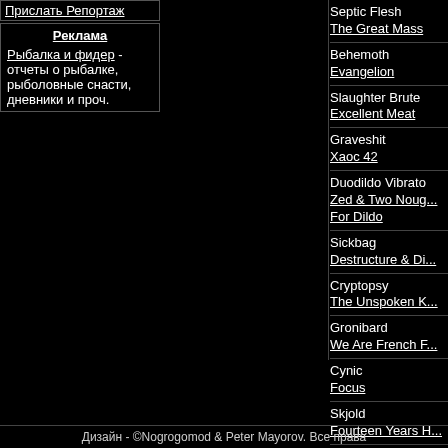Прислать Репортаж
Реклама
Рыбалка и фидер - отчеты о рыбалке, рыболовные снасти, дневники и проч.
Septic Flesh
The Great Mass
Behemoth
Evangelion
Slaughter Brute
Excellent Meat
Graveshit
Хаос 42
Duodildo Vibrato
Zed & Two Noug... For Dildo
Sickbag
Destructure & Di...
Cryptopsy
The Unspoken K...
Gronibard
We Are French F...
Cynic
Focus
Skjold
Fourteen Years H...
Дизайн - ©Nogrogomod & Peter Mayorov. Все права